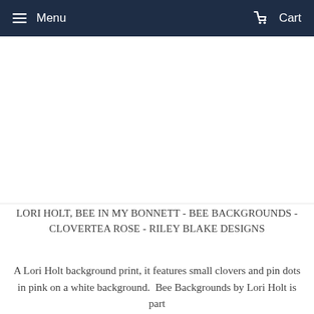Menu  Cart
[Figure (other): White empty space where product image would be displayed]
LORI HOLT, BEE IN MY BONNETT - BEE BACKGROUNDS - CLOVERTEA ROSE - RILEY BLAKE DESIGNS
A Lori Holt background print, it features small clovers and pin dots in pink on a white background.  Bee Backgrounds by Lori Holt is part